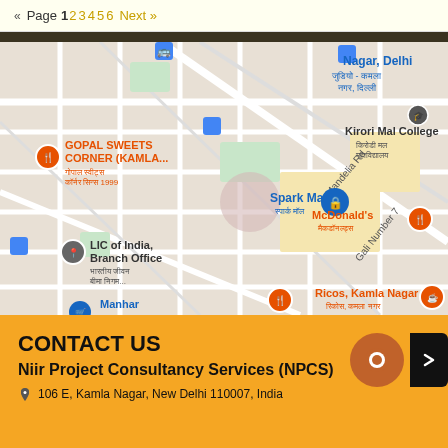« Page 1 2 3 4 5 6 Next »
[Figure (map): Google Maps view of Kamla Nagar area, New Delhi, India. Shows landmarks including Gopal Sweets Corner (KAMLA...), Kirori Mal College, Spark Mall, McDonald's, LIC of India Branch Office, Manhar, Ricos Kamla Nagar, streets including Mandelia Rd and Gali Number 7.]
CONTACT US
Niir Project Consultancy Services (NPCS)
106 E, Kamla Nagar, New Delhi 110007, India